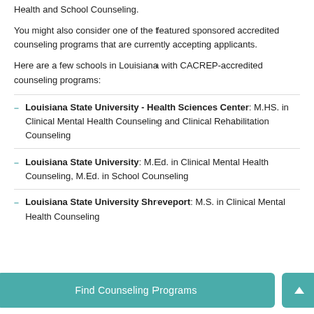Health and School Counseling.
You might also consider one of the featured sponsored accredited counseling programs that are currently accepting applicants.
Here are a few schools in Louisiana with CACREP-accredited counseling programs:
Louisiana State University - Health Sciences Center: M.HS. in Clinical Mental Health Counseling and Clinical Rehabilitation Counseling
Louisiana State University: M.Ed. in Clinical Mental Health Counseling, M.Ed. in School Counseling
Louisiana State University Shreveport: M.S. in Clinical Mental Health Counseling
Find Counseling Programs